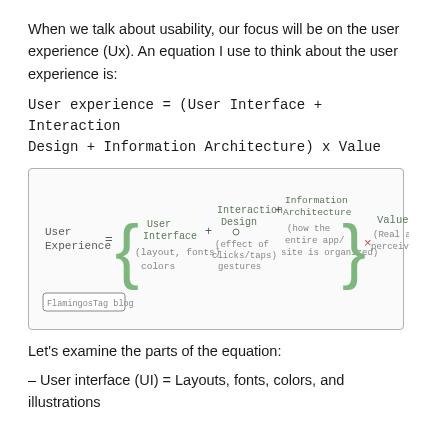When we talk about usability, our focus will be on the user experience (Ux). An equation I use to think about the user experience is:
[Figure (illustration): Handwritten diagram showing the equation: User Experience = { User Interface (layout, fonts, colors) + Interaction Design (effect of clicks/taps/gestures) + Information Architecture (how the entire app/site is organized) } x Value (Real and perceived). Watermark: FlamingosTag blog]
Let’s examine the parts of the equation:
– User interface (UI) = Layouts, fonts, colors, and illustrations